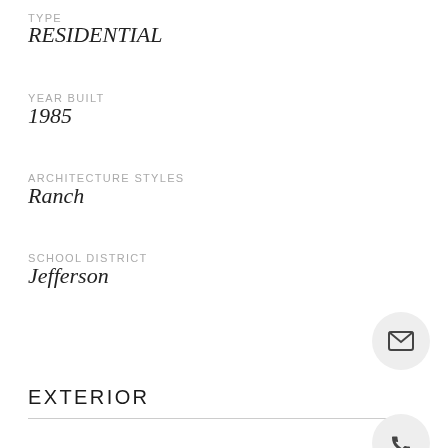TYPE
RESIDENTIAL
YEAR BUILT
1985
ARCHITECTURE STYLES
Ranch
SCHOOL DISTRICT
Jefferson
EXTERIOR
GARAGE SPACES
3